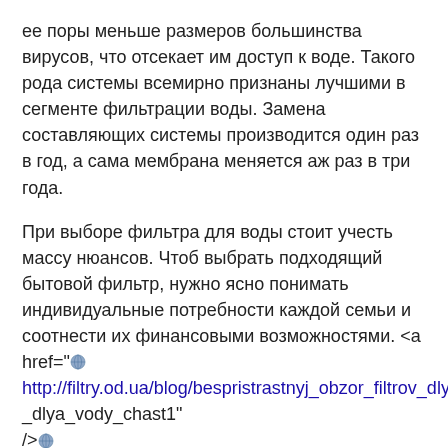ее поры меньше размеров большинства вирусов, что отсекает им доступ к воде. Такого рода системы всемирно признаны лучшими в сегменте фильтрации воды. Замена составляющих системы производится один раз в год, а сама мембрана меняется аж раз в три года.
При выборе фильтра для воды стоит учесть массу нюансов. Чтоб выбрать подходящий бытовой фильтр, нужно ясно понимать индивидуальные потребности каждой семьи и соотнести их финансовыми возможностями. <a href="http://filtry.od.ua/blog/bespristrastnyj_obzor_filtrov_dlya_vody_chast1" />http://filtry.od.ua/blog/bespristrastnyj_obzor_filtrov_dlya_vody_chast1</a>
http://filtry.od.ua